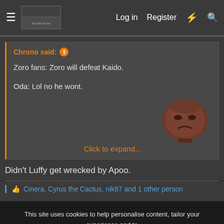Log in  Register
Chrono said: ↑
Zoro fans: Zoro will defeat Kaido.
Oda: Lol no he wont.
Click to expand...
Didn't Luffy get wrecked by Apoo.
Cinera, Cyrus the Cactus, nik87 and 1 other person
This site uses cookies to help personalise content, tailor your experience and to keep you logged in if you register.
By continuing to use this site, you are consenting to our use of cookies.